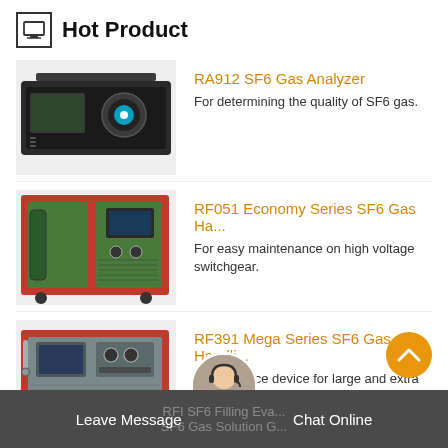Hot Product
[Figure (photo): RA912 SF6 Gas Analyzer — a rack-mounted black instrument with display and circular gauge on front panel]
RA912 SF6 Gas Analyzer
For determining the quality of SF6 gas.
[Figure (photo): RF051 Economy Series SF6 Gas Handling Unit — a large red-framed industrial machine on wheels with green panels]
RF051 Economy Series SF6 Gas Ha...
For easy maintenance on high voltage switchgear.
[Figure (photo): RF391 Mega Series SF6 Gas Handling Unit — a red-framed industrial cabinet with grey panels]
RF391 Mega Series SF6 Gas Handli...
Maintenance device for large and extra large gas…
Leave Message   Chat Online